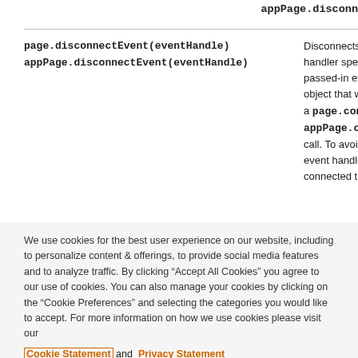appPage.disconn
| Method | Description |
| --- | --- |
| page.disconnectEvent(eventHandle)
appPage.disconnectEvent(eventHandle) | Disconnects the e handler specified b passed-in event ha object that was re a page.connectEv appPage.connect call. To avoid dupl event handlers be connected to page |
We use cookies for the best user experience on our website, including to personalize content & offerings, to provide social media features and to analyze traffic. By clicking “Accept All Cookies” you agree to our use of cookies. You can also manage your cookies by clicking on the “Cookie Preferences” and selecting the categories you would like to accept. For more information on how we use cookies please visit our Cookie Statement and Privacy Statement